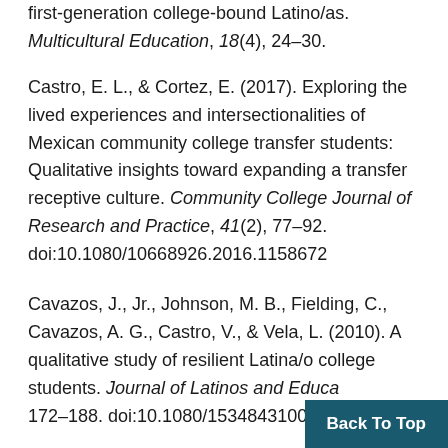first-generation college-bound Latino/as. Multicultural Education, 18(4), 24–30.
Castro, E. L., & Cortez, E. (2017). Exploring the lived experiences and intersectionalities of Mexican community college transfer students: Qualitative insights toward expanding a transfer receptive culture. Community College Journal of Research and Practice, 41(2), 77–92. doi:10.1080/10668926.2016.1158672
Cavazos, J., Jr., Johnson, M. B., Fielding, C., Cavazos, A. G., Castro, V., & Vela, L. (2010). A qualitative study of resilient Latina/o college students. Journal of Latinos and Education, 9(3), 172–188. doi:10.1080/15348431003761166